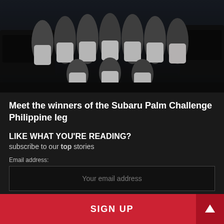[Figure (photo): Group photo of young men in white t-shirts with Subaru Palm Challenge branding, posed together in a parking area at night]
Meet the winners of the Subaru Palm Challenge Philippine leg
LIKE WHAT YOU'RE READING?
subscribe to our top stories
Email address:
Your email address
SIGN UP